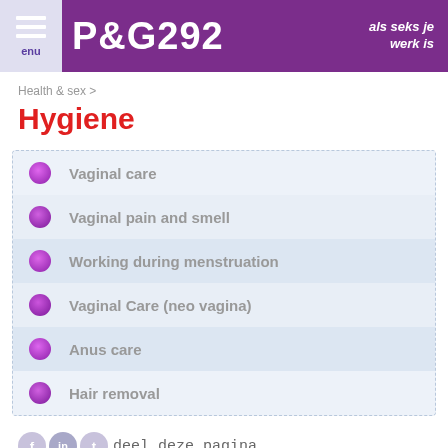enu P&G292 als seks je werk is
Health & sex >
Hygiene
Vaginal care
Vaginal pain and smell
Working during menstruation
Vaginal Care (neo vagina)
Anus care
Hair removal
deel deze pagina